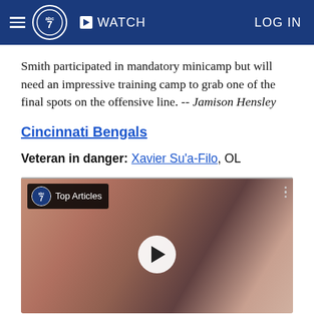ABC 7 | WATCH | LOG IN
Smith participated in mandatory minicamp but will need an impressive training camp to grab one of the final spots on the offensive line. -- Jamison Hensley
Cincinnati Bengals
Veteran in danger: Xavier Su'a-Filo, OL
[Figure (screenshot): Video thumbnail with play button overlay, ABC7 Top Articles label, showing a person covering their face]